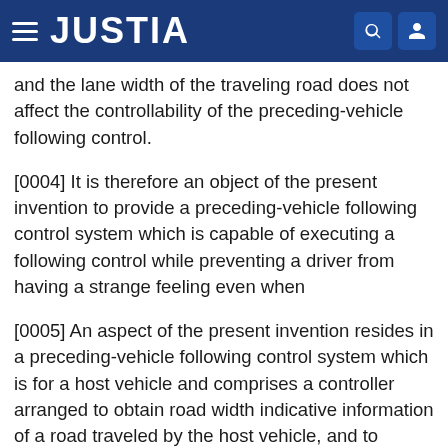JUSTIA
and the lane width of the traveling road does not affect the controllability of the preceding-vehicle following control.
[0004] It is therefore an object of the present invention to provide a preceding-vehicle following control system which is capable of executing a following control while preventing a driver from having a strange feeling even when
[0005] An aspect of the present invention resides in a preceding-vehicle following control system which is for a host vehicle and comprises a controller arranged to obtain road width indicative information of a road traveled by the host vehicle, and to execute a following control for following a preceding vehicle ahead of the host vehicle according to the road width indicative information.